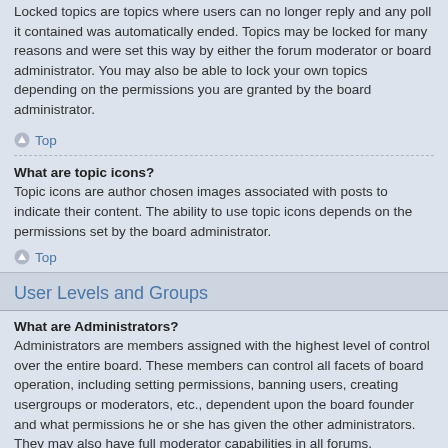Locked topics are topics where users can no longer reply and any poll it contained was automatically ended. Topics may be locked for many reasons and were set this way by either the forum moderator or board administrator. You may also be able to lock your own topics depending on the permissions you are granted by the board administrator.
Top
What are topic icons?
Topic icons are author chosen images associated with posts to indicate their content. The ability to use topic icons depends on the permissions set by the board administrator.
Top
User Levels and Groups
What are Administrators?
Administrators are members assigned with the highest level of control over the entire board. These members can control all facets of board operation, including setting permissions, banning users, creating usergroups or moderators, etc., dependent upon the board founder and what permissions he or she has given the other administrators. They may also have full moderator capabilities in all forums, depending on the settings put forth by the board founder.
Top